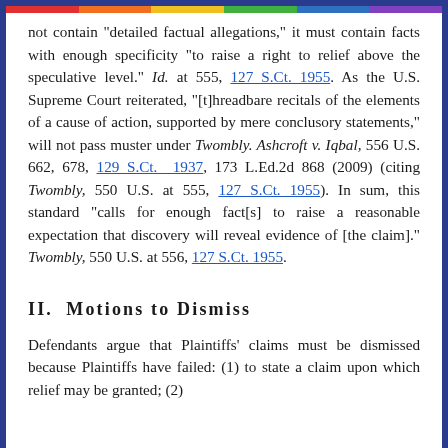not contain "detailed factual allegations," it must contain facts with enough specificity "to raise a right to relief above the speculative level." Id. at 555, 127 S.Ct. 1955. As the U.S. Supreme Court reiterated, "[t]hreadbare recitals of the elements of a cause of action, supported by mere conclusory statements," will not pass muster under Twombly. Ashcroft v. Iqbal, 556 U.S. 662, 678, 129 S.Ct. 1937, 173 L.Ed.2d 868 (2009) (citing Twombly, 550 U.S. at 555, 127 S.Ct. 1955). In sum, this standard "calls for enough fact[s] to raise a reasonable expectation that discovery will reveal evidence of [the claim]." Twombly, 550 U.S. at 556, 127 S.Ct. 1955.
II.  Motions to Dismiss
Defendants argue that Plaintiffs' claims must be dismissed because Plaintiffs have failed: (1) to state a claim upon which relief may be granted; (2)...